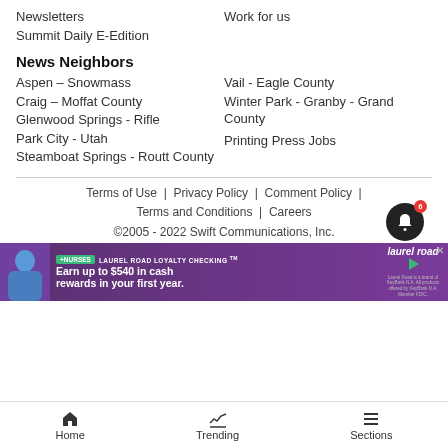Newsletters
Work for us
Summit Daily E-Edition
News Neighbors
Aspen – Snowmass
Vail - Eagle County
Craig – Moffat County
Winter Park - Granby - Grand County
Glenwood Springs - Rifle
Printing Press Jobs
Park City - Utah
Steamboat Springs - Routt County
Terms of Use  |  Privacy Policy  |  Comment Policy  |  Terms and Conditions  |  Careers
©2005 - 2022 Swift Communications, Inc.
[Figure (photo): Advertisement banner for Laurel Road Loyalty Checking featuring a nurse and text 'Earn up to $540 in cash rewards in your first year.']
Home  Trending  Sections